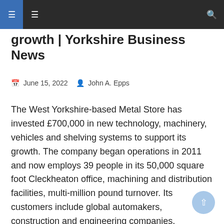growth | Yorkshire Business News
growth | Yorkshire Business News
June 15, 2022   John A. Epps
The West Yorkshire-based Metal Store has invested £700,000 in new technology, machinery, vehicles and shelving systems to support its growth. The company began operations in 2011 and now employs 39 people in its 50,000 square foot Cleckheaton office, machining and distribution facilities, multi-million pound turnover. Its customers include global automakers, construction and engineering companies, professional [...]